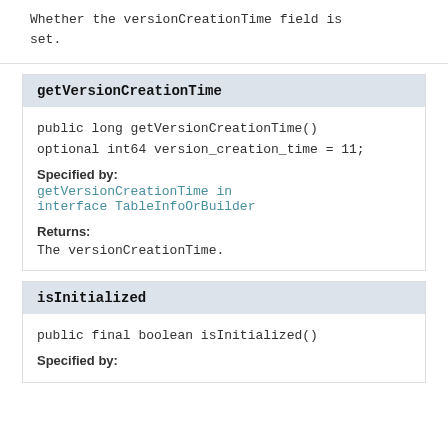Whether the versionCreationTime field is set.
getVersionCreationTime
public long getVersionCreationTime()
optional int64 version_creation_time = 11;
Specified by:
getVersionCreationTime in interface TableInfoOrBuilder
Returns:
The versionCreationTime.
isInitialized
public final boolean isInitialized()
Specified by: